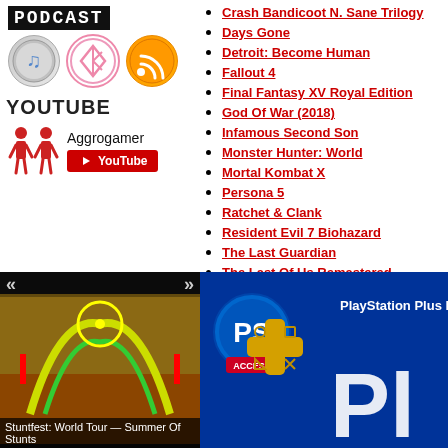PODCAST
[Figure (illustration): Three podcast icons: music note (iTunes), diamond/Bluetooth shape (pink outline), RSS orange circle]
YOUTUBE
[Figure (illustration): Two red stick figures and YouTube button with text Aggrogamer]
[Figure (screenshot): Stuntfest: World Tour — Summer Of Stunts game thumbnail with navigation arrows]
Stuntfest: World Tour — Summer Of Stunts
Crash Bandicoot N. Sane Trilogy
Days Gone
Detroit: Become Human
Fallout 4
Final Fantasy XV Royal Edition
God Of War (2018)
Infamous Second Son
Monster Hunter: World
Mortal Kombat X
Persona 5
Ratchet & Clank
Resident Evil 7 Biohazard
The Last Guardian
The Last Of Us Remastered
Until Dawn
Uncharted 4: A Thief's End
[Figure (screenshot): PlayStation Plus Monthly image with PS+ logo, gold cross icon, blue background, text 'PlayStation Plus Mon' and large white 'Pl' letters]